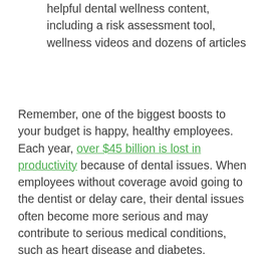helpful dental wellness content, including a risk assessment tool, wellness videos and dozens of articles
Remember, one of the biggest boosts to your budget is happy, healthy employees. Each year, over $45 billion is lost in productivity because of dental issues. When employees without coverage avoid going to the dentist or delay care, their dental issues often become more serious and may contribute to serious medical conditions, such as heart disease and diabetes.